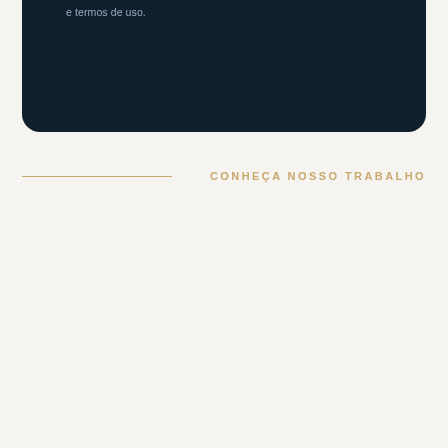e termos de uso.
CONHEÇA NOSSO TRABALHO